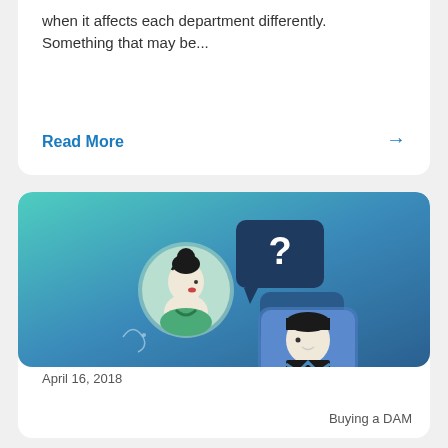when it affects each department differently. Something that may be...
Read More →
[Figure (illustration): Illustration of two people messaging on a gradient teal-to-blue background. A woman with a bun hairstyle in a circular avatar with a question mark speech bubble, and a man in a dark suit with a speech bubble showing ellipsis dots.]
April 16, 2018
Buying a DAM